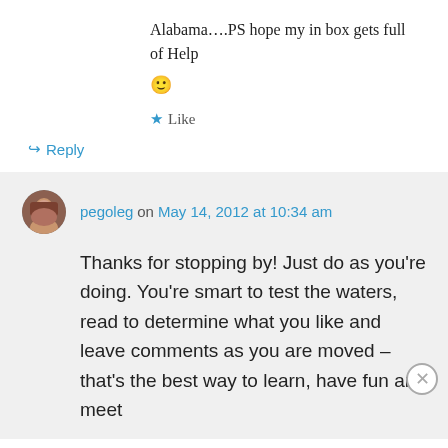Alabama….PS hope my in box gets full of Help 🙂
★ Like
↪ Reply
pegoleg on May 14, 2012 at 10:34 am
Thanks for stopping by! Just do as you're doing. You're smart to test the waters, read to determine what you like and leave comments as you are moved – that's the best way to learn, have fun and meet
Advertisements